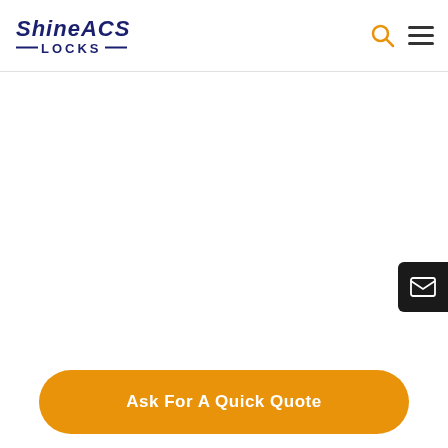[Figure (logo): ShineACS Locks logo with italic bold text and decorative horizontal lines flanking the word LOCKS]
[Figure (other): Orange search icon (magnifying glass) and dark hamburger menu icon in the top right navigation area]
[Figure (other): Dark square email/envelope badge on the right edge of the page]
Ask For A Quick Quote